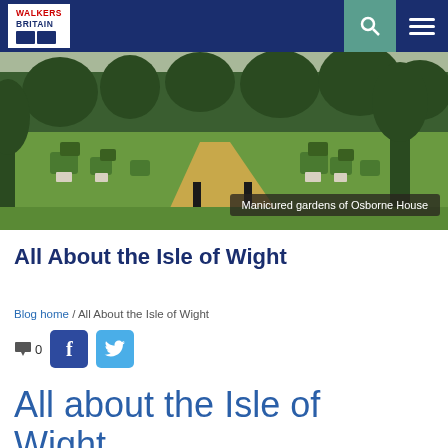WALKERS BRITAIN
[Figure (photo): Manicured gardens of Osborne House showing a formal garden path lined with topiary hedges and potted plants, with tall trees in the background.]
Manicured gardens of Osborne House
All About the Isle of Wight
Blog home / All About the Isle of Wight
0
All about the Isle of Wight